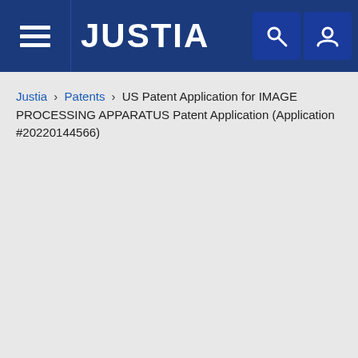JUSTIA
Justia › Patents › US Patent Application for IMAGE PROCESSING APPARATUS Patent Application (Application #20220144566)